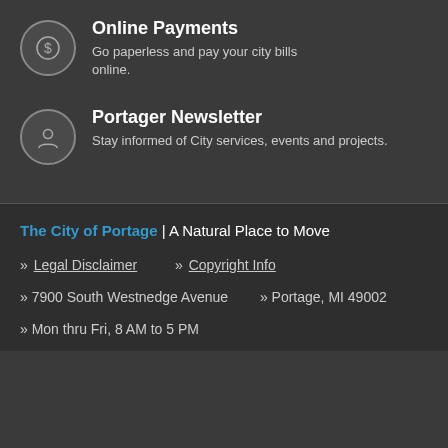Online Payments
Go paperless and pay your city bills online.
Portager Newsletter
Stay informed of City services, events and projects.
The City of Portage | A Natural Place to Move
» Legal Disclaimer   » Copyright Info
» 7900 South Westnedge Avenue   » Portage, MI 49002
» Mon thru Fri, 8 AM to 5 PM